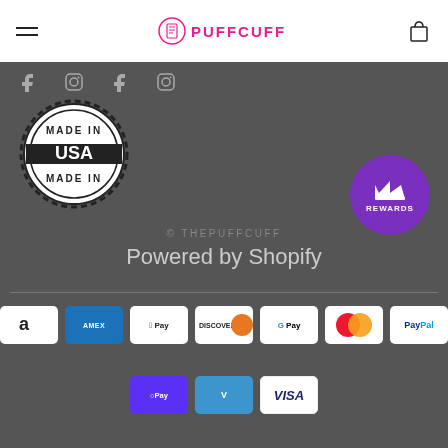PuffCuff navigation header with hamburger menu and bag icon
[Figure (logo): PuffCuff logo with icon and text in pink]
[Figure (illustration): Social media icons: Facebook, Instagram, Facebook, Instagram]
[Figure (illustration): Made in USA badge - circular stamp design in black and white]
[Figure (illustration): Purple circular Rewards button with crown icon]
© THEPUFFCUFF
Powered by Shopify
[Figure (illustration): Payment method icons: Amazon, Amex, Apple Pay, Discover, Google Pay, Mastercard, PayPal, Shop Pay, Venmo, Visa]